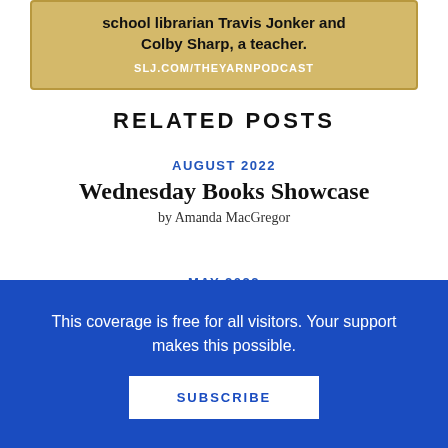[Figure (other): Gold/tan colored box with text 'school librarian Travis Jonker and Colby Sharp, a teacher.' and URL SLJ.COM/THEYARNPODCAST]
RELATED POSTS
AUGUST 2022
Wednesday Books Showcase
by Amanda MacGregor
MAY 2022
Have Some Mysteries and Thrillers for
This coverage is free for all visitors. Your support makes this possible.
SUBSCRIBE